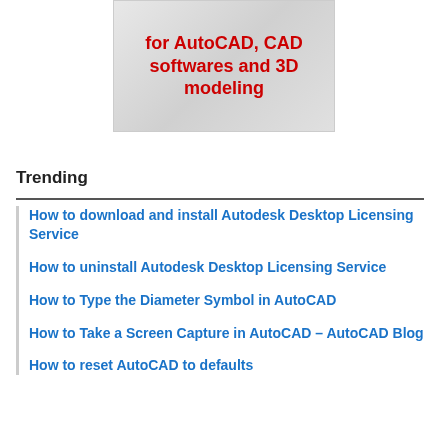[Figure (illustration): Promotional banner image showing a laptop with red bold text reading 'for AutoCAD, CAD softwares and 3D modeling' on a light gray background]
Trending
How to download and install Autodesk Desktop Licensing Service
How to uninstall Autodesk Desktop Licensing Service
How to Type the Diameter Symbol in AutoCAD
How to Take a Screen Capture in AutoCAD – AutoCAD Blog
How to reset AutoCAD to defaults